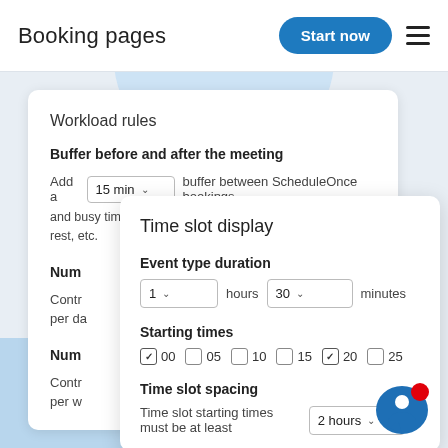Booking pages
Workload rules
Buffer before and after the meeting
Add a 15 min buffer between ScheduleOnce bookings and busy time to account for preparation time, cleanup, rest, etc.
Num
Contr per da
Num
Contr per w
Time slot display
Event type duration
1 hours 30 minutes
Starting times
00  05  10  15  20  25
Time slot spacing
Time slot starting times must be at least 2 hours a